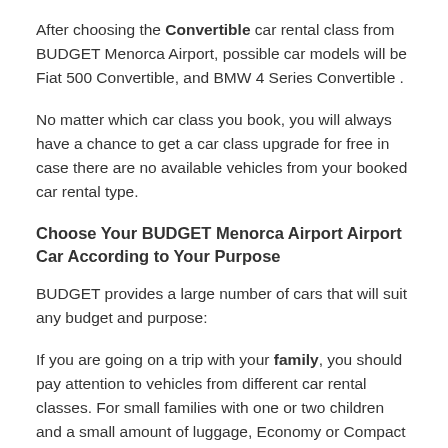After choosing the Convertible car rental class from BUDGET Menorca Airport, possible car models will be Fiat 500 Convertible, and BMW 4 Series Convertible .
No matter which car class you book, you will always have a chance to get a car class upgrade for free in case there are no available vehicles from your booked car rental type.
Choose Your BUDGET Menorca Airport Airport Car According to Your Purpose
BUDGET provides a large number of cars that will suit any budget and purpose:
If you are going on a trip with your family, you should pay attention to vehicles from different car rental classes. For small families with one or two children and a small amount of luggage, Economy or Compact car classes may suit you. If you are traveling with more luggage, you